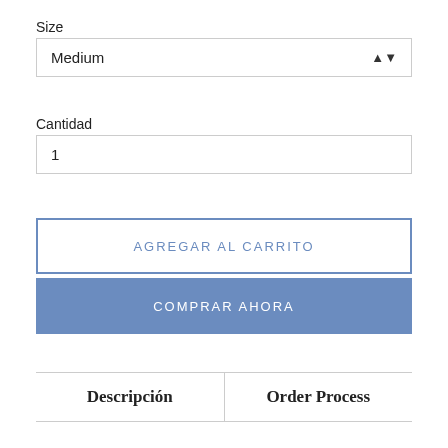Size
Medium
Cantidad
1
AGREGAR AL CARRITO
COMPRAR AHORA
| Descripción | Order Process |
| --- | --- |